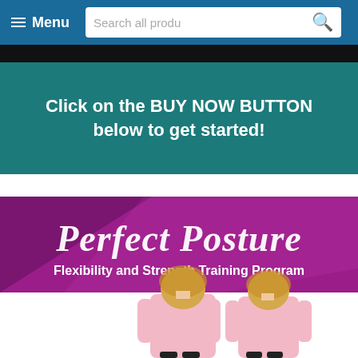≡ Menu   Search all produ 🔍
[Figure (screenshot): Black bar separator]
Click on the BUY NOW BUTTON below to get started!
[Figure (illustration): Perfect Posture - Flexibility and Strength Training Program banner with two female models in pink t-shirts shown from front and back views]